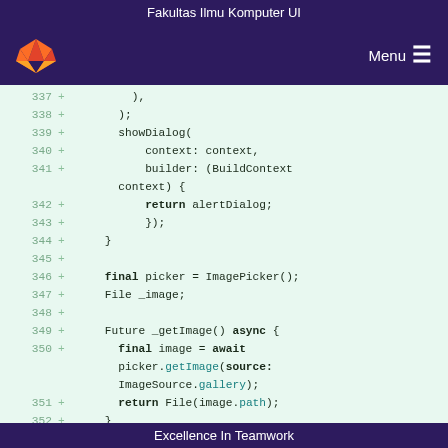Fakultas Ilmu Komputer UI
[Figure (screenshot): Navigation bar with GitLab fox logo on left and Menu button on right, dark purple background]
Code diff view showing lines 337-352 with + markers indicating additions. Code is Dart/Flutter: showDialog with context and builder parameters, return alertDialog, picker = ImagePicker(), File _image, Future _getImage() async with picker.getImage(source: ImageSource.gallery) and return File(image.path)
Excellence In Teamwork